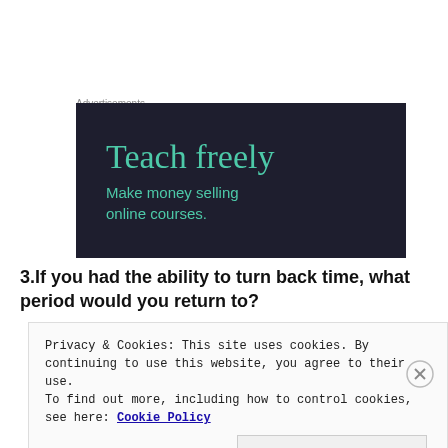Advertisements
[Figure (illustration): Dark navy advertisement banner reading 'Teach freely' in teal serif font with subtitle 'Make money selling online courses.' in teal sans-serif font.]
3.If you had the ability to turn back time, what period would you return to?
Privacy & Cookies: This site uses cookies. By continuing to use this website, you agree to their use.
To find out more, including how to control cookies, see here: Cookie Policy
Close and accept